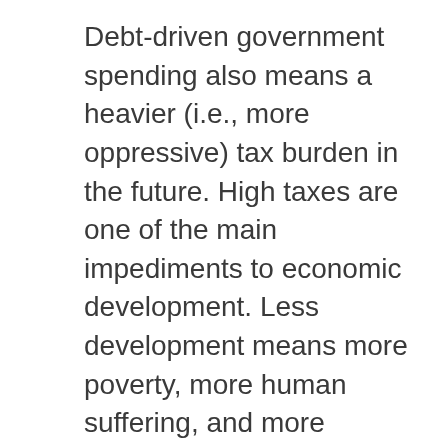Debt-driven government spending also means a heavier (i.e., more oppressive) tax burden in the future. High taxes are one of the main impediments to economic development. Less development means more poverty, more human suffering, and more poverty-related deaths.
Moreover, excessive debt leads to a situation where the people, their children, and even the unborn will have to be taxed to pay for today's largely Wasteful and Counterproductive government spending, which only makes politicians and associates rich.
On top of all that, debt (loans and grants)